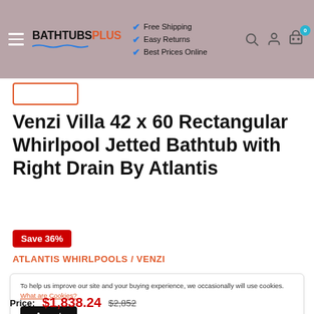BATHTUBSPLUS — Free Shipping, Easy Returns, Best Prices Online
Venzi Villa 42 x 60 Rectangular Whirlpool Jetted Bathtub with Right Drain By Atlantis
Save 36%
ATLANTIS WHIRLPOOLS / VENZI
To help us improve our site and your buying experience, we occasionally will use cookies. What are Cookies?
Accept
Price: $1,838.24  $2,852